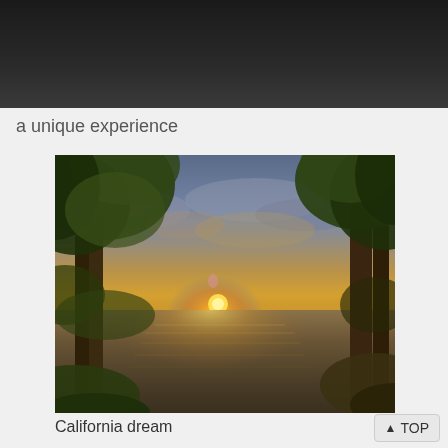[Figure (other): Dark black/grey gradient banner at top of page, partial image cutoff]
a unique experience
[Figure (photo): Sunset landscape photo viewed through trees, sun setting over a lake or ocean with golden light reflecting on the water, trees silhouetted on left and right sides, cloudy sky]
California dream
▲ TOP